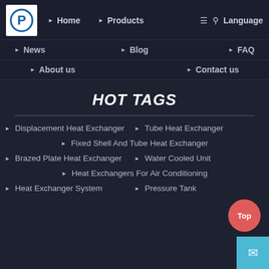[Figure (logo): Company logo with stylized 'P' letter in blue circle on white background]
Home | Products | News | Blog | FAQ | About us | Contact us | Language
HOT TAGS
Displacement Heat Exchanger
Tube Heat Exchanger
Fixed Shell And Tube Heat Exchanger
Brazed Plate Heat Exchanger
Water Cooled Unit
Heat Exchangers For Air Conditioning
Heat Exchanger System
Pressure Tank